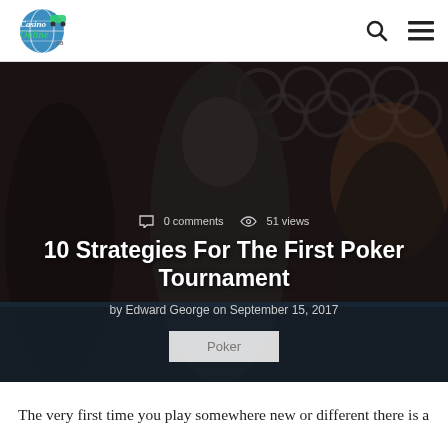Casino Online ZA — header with logo, search icon, menu icon
[Figure (photo): Photo of poker players at a casino table, dark moody background with decorative ironwork]
0 comments   51 views
10 Strategies For The First Poker Tournament
by Edward George on September 15, 2017
Poker
The very first time you play somewhere new or different there is a